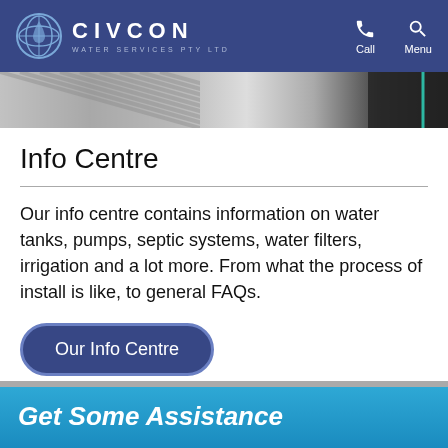CIVCON WATER SERVICES PTY LTD | Call | Menu
[Figure (photo): Partial photo strip showing people, likely a work/installation scene]
Info Centre
Our info centre contains information on water tanks, pumps, septic systems, water filters, irrigation and a lot more. From what the process of install is like, to general FAQs.
Our Info Centre
Get Some Assistance